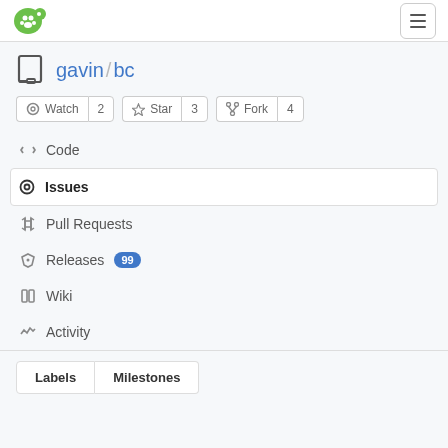Gitea navigation header with logo and hamburger menu
gavin / bc
Watch 2  Star 3  Fork 4
Code
Issues
Pull Requests
Releases 99
Wiki
Activity
Labels  Milestones